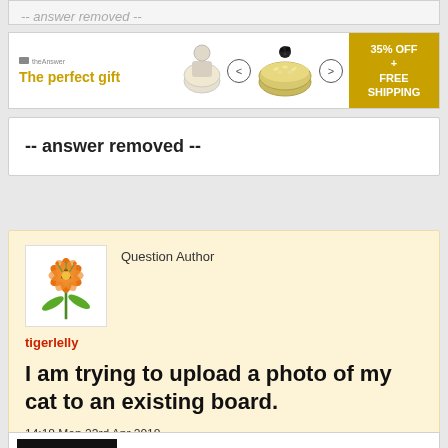-- answer removed --
[Figure (screenshot): Advertisement banner for 'The perfect gift' showing food bowls with navigation arrows and a gold badge reading '35% OFF + FREE SHIPPING']
-- answer removed --
Question Author
[Figure (illustration): Avatar image of a stylized tiger lily flower character with orange bloom and green stem/leaves]
tigerlelly
I am trying to upload a photo of my cat to an existing board.
14:18 Mon 23rd Apr 2018
[Figure (photo): Partially visible dark image at the bottom of the page]